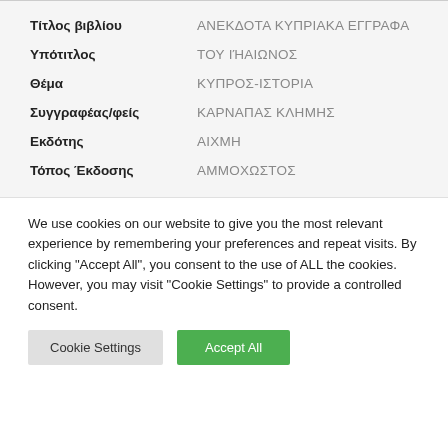| Field | Value |
| --- | --- |
| Τίτλος βιβλίου | ΑΝΕΚΔΟΤΑ ΚΥΠΡΙΑΚΑ ΕΓΓΡΑΦΑ |
| Υπότιτλος | ΤΟΥ ΙΉΑΙΩΝΟΣ |
| Θέμα | ΚΥΠΡΟΣ-ΙΣΤΟΡΙΑ |
| Συγγραφέας/φείς | ΚΑΡΝΑΠΑΣ ΚΛΗΜΗΣ |
| Εκδότης | ΑΙΧΜΗ |
| Τόπος Έκδοσης | ΑΜΜΟΧΩΣΤΟΣ |
We use cookies on our website to give you the most relevant experience by remembering your preferences and repeat visits. By clicking "Accept All", you consent to the use of ALL the cookies. However, you may visit "Cookie Settings" to provide a controlled consent.